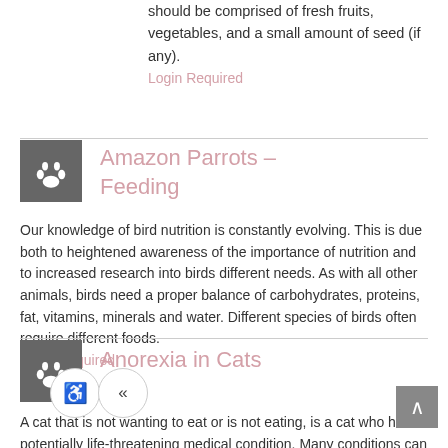should be comprised of fresh fruits, vegetables, and a small amount of seed (if any). Login Required
Amazon Parrots – Feeding
Our knowledge of bird nutrition is constantly evolving. This is due both to heightened awareness of the importance of nutrition and to increased research into birds different needs. As with all other animals, birds need a proper balance of carbohydrates, proteins, fat, vitamins, minerals and water. Different species of birds often require different foods. Login Required
Anorexia in Cats
A cat that is not wanting to eat or is not eating, is a cat who has a potentially life-threatening medical condition. Many conditions can lead